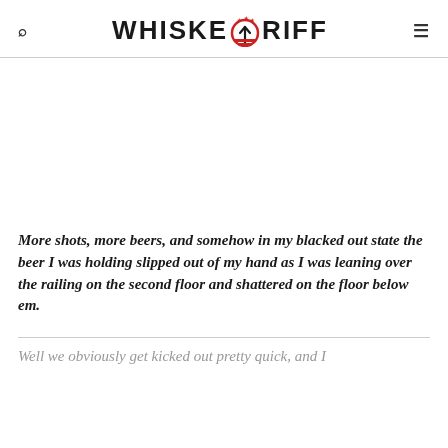WHISKEY RIFF
More shots, more beers, and somehow in my blacked out state the beer I was holding slipped out of my hand as I was leaning over the railing on the second floor and shattered on the floor below em.
Well we obviously get kicked out pretty quick, and I